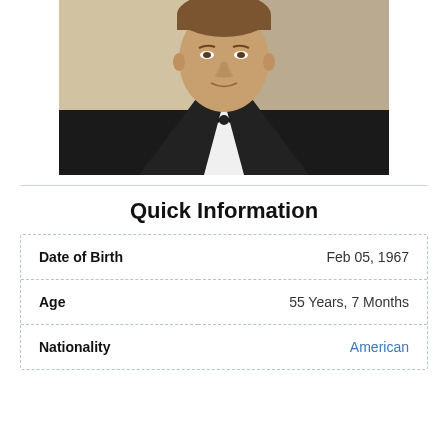[Figure (photo): A man in a black tuxedo with a black bow tie, photographed from the chest up, smiling slightly, with a blurred background.]
Quick Information
| Field | Value |
| --- | --- |
| Date of Birth | Feb 05, 1967 |
| Age | 55 Years, 7 Months |
| Nationality | American |